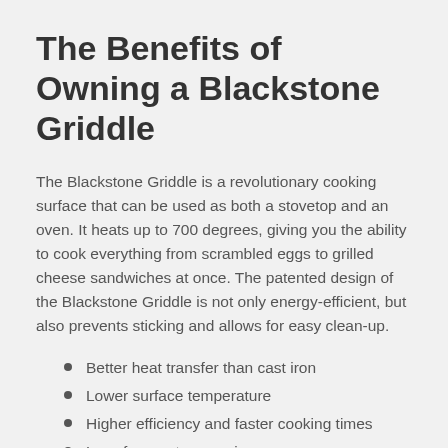The Benefits of Owning a Blackstone Griddle
The Blackstone Griddle is a revolutionary cooking surface that can be used as both a stovetop and an oven. It heats up to 700 degrees, giving you the ability to cook everything from scrambled eggs to grilled cheese sandwiches at once. The patented design of the Blackstone Griddle is not only energy-efficient, but also prevents sticking and allows for easy clean-up.
Better heat transfer than cast iron
Lower surface temperature
Higher efficiency and faster cooking times
Less frequent seasoning
Copper heats faster and retains heat better than other materials